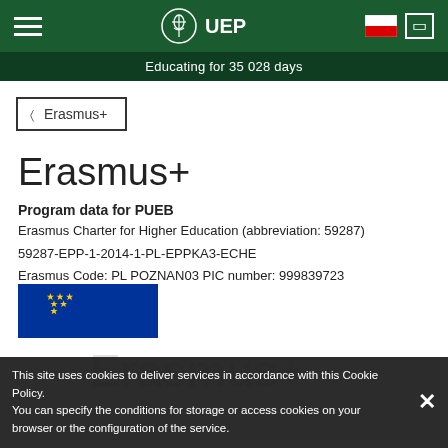UEP — Educating for 35 028 days
◁  Erasmus+
Erasmus+
Program data for PUEB
Erasmus Charter for Higher Education (abbreviation: 59287)
59287-EPP-1-2014-1-PL-EPPKA3-ECHE
Erasmus Code: PL POZNAN03 PIC number: 999839723
This site uses cookies to deliver services in accordance with this Cookie Policy.
You can specify the conditions for storage or access cookies on your browser or the configuration of the service.